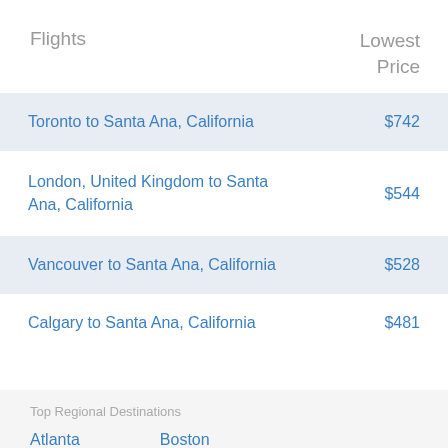| Flights | Lowest Price |
| --- | --- |
| Toronto to Santa Ana, California | $742 |
| London, United Kingdom to Santa Ana, California | $544 |
| Vancouver to Santa Ana, California | $528 |
| Calgary to Santa Ana, California | $481 |
Top Regional Destinations
Atlanta   Boston